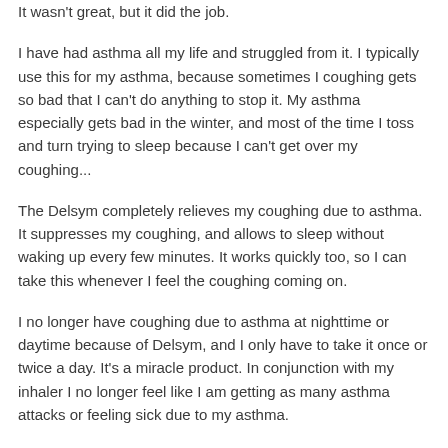It wasn't great, but it did the job.
I have had asthma all my life and struggled from it. I typically use this for my asthma, because sometimes I coughing gets so bad that I can't do anything to stop it. My asthma especially gets bad in the winter, and most of the time I toss and turn trying to sleep because I can't get over my coughing...
The Delsym completely relieves my coughing due to asthma. It suppresses my coughing, and allows to sleep without waking up every few minutes. It works quickly too, so I can take this whenever I feel the coughing coming on.
I no longer have coughing due to asthma at nighttime or daytime because of Delsym, and I only have to take it once or twice a day. It's a miracle product. In conjunction with my inhaler I no longer feel like I am getting as many asthma attacks or feeling sick due to my asthma.
I haven't used this for colds, because I find when I have a cold I need a medicine that targets all symptoms and not just